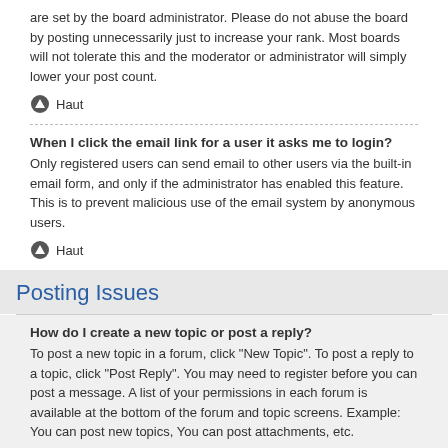are set by the board administrator. Please do not abuse the board by posting unnecessarily just to increase your rank. Most boards will not tolerate this and the moderator or administrator will simply lower your post count.
Haut
When I click the email link for a user it asks me to login?
Only registered users can send email to other users via the built-in email form, and only if the administrator has enabled this feature. This is to prevent malicious use of the email system by anonymous users.
Haut
Posting Issues
How do I create a new topic or post a reply?
To post a new topic in a forum, click "New Topic". To post a reply to a topic, click "Post Reply". You may need to register before you can post a message. A list of your permissions in each forum is available at the bottom of the forum and topic screens. Example: You can post new topics, You can post attachments, etc.
Haut
How do I edit or delete a post?
Unless you are a board administrator or moderator, you can only edit or